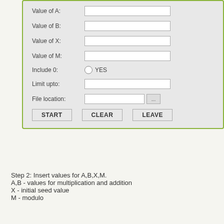[Figure (screenshot): A GUI form with fields: Value of A, Value of B, Value of X, Value of M (text inputs), Include 0 (radio YES), Limit upto (text input), File location (text input + browse button), and buttons START, CLEAR, LEAVE. The form has a green border on a gray background.]
Step 2: Insert values for A,B,X,M.
A,B - values for multiplication and addition
X - initial seed value
M - modulo
[Figure (screenshot): Title bar of a Windows application called TRING with minimize, maximize, and close (red X) buttons, on a green background.]